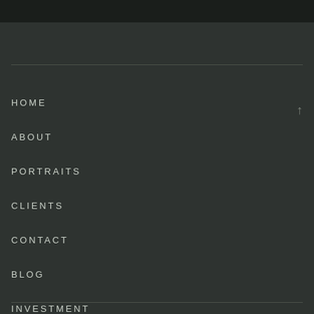HOME
ABOUT
PORTRAITS
CLIENTS
CONTACT
BLOG
INVESTMENT